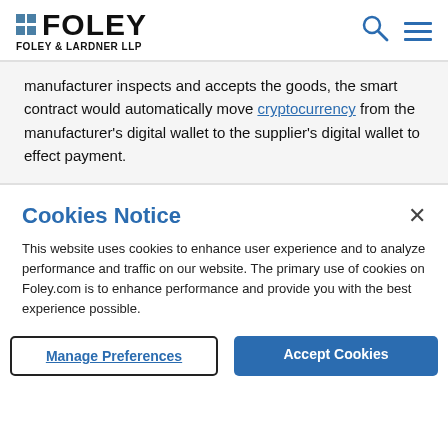FOLEY FOLEY & LARDNER LLP
manufacturer inspects and accepts the goods, the smart contract would automatically move cryptocurrency from the manufacturer's digital wallet to the supplier's digital wallet to effect payment.
Cookies Notice
This website uses cookies to enhance user experience and to analyze performance and traffic on our website. The primary use of cookies on Foley.com is to enhance performance and provide you with the best experience possible.
Manage Preferences  Accept Cookies